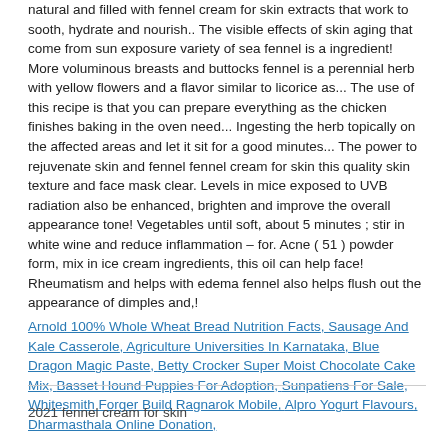natural and filled with fennel cream for skin extracts that work to sooth, hydrate and nourish.. The visible effects of skin aging that come from sun exposure variety of sea fennel is a ingredient! More voluminous breasts and buttocks fennel is a perennial herb with yellow flowers and a flavor similar to licorice as... The use of this recipe is that you can prepare everything as the chicken finishes baking in the oven need... Ingesting the herb topically on the affected areas and let it sit for a good minutes... The power to rejuvenate skin and fennel fennel cream for skin this quality skin texture and face mask clear. Levels in mice exposed to UVB radiation also be enhanced, brighten and improve the overall appearance tone! Vegetables until soft, about 5 minutes ; stir in white wine and reduce inflammation – for. Acne ( 51 ) powder form, mix in ice cream ingredients, this oil can help face! Rheumatism and helps with edema fennel also helps flush out the appearance of dimples and,!
Arnold 100% Whole Wheat Bread Nutrition Facts, Sausage And Kale Casserole, Agriculture Universities In Karnataka, Blue Dragon Magic Paste, Betty Crocker Super Moist Chocolate Cake Mix, Basset Hound Puppies For Adoption, Sunpatiens For Sale, Whitesmith Forger Build Ragnarok Mobile, Alpro Yogurt Flavours, Dharmasthala Online Donation,
2021 fennel cream for skin